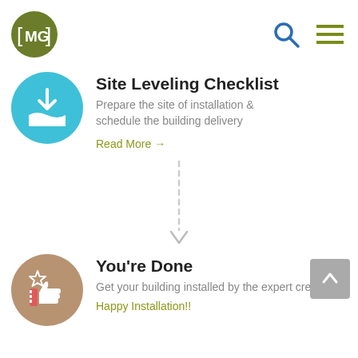[Figure (logo): CMG logo — olive green circle with white bracket and MG text]
[Figure (infographic): Blue circle icon with white download-into-tray arrow symbol]
Site Leveling Checklist
Prepare the site of installation & schedule the building delivery
Read More →
[Figure (infographic): Dashed vertical line with downward chevron arrow at bottom, indicating step progression]
[Figure (infographic): Tan/brown circle icon with white thumbs-up and star symbol]
You're Done
Get your building installed by the expert crew
Happy Installation!!